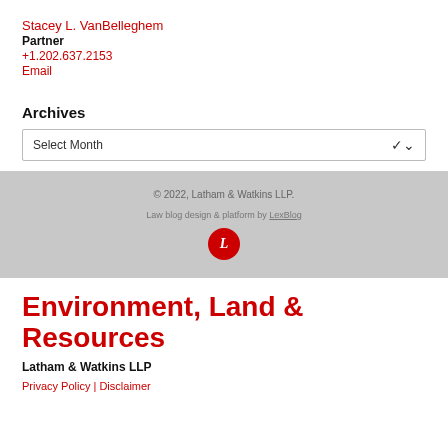Stacey L. VanBelleghem
Partner
+1.202.637.2153
Email
Archives
Select Month
© 2022, Latham & Watkins LLP.
Law blog design & platform by LexBlog
Environment, Land & Resources
Latham & Watkins LLP
Privacy Policy | Disclaimer